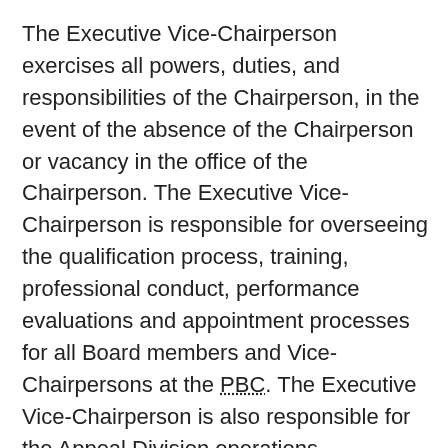The Executive Vice-Chairperson exercises all powers, duties, and responsibilities of the Chairperson, in the event of the absence of the Chairperson or vacancy in the office of the Chairperson. The Executive Vice-Chairperson is responsible for overseeing the qualification process, training, professional conduct, performance evaluations and appointment processes for all Board members and Vice-Chairpersons at the PBC. The Executive Vice-Chairperson is also responsible for the Appeal Division operations.